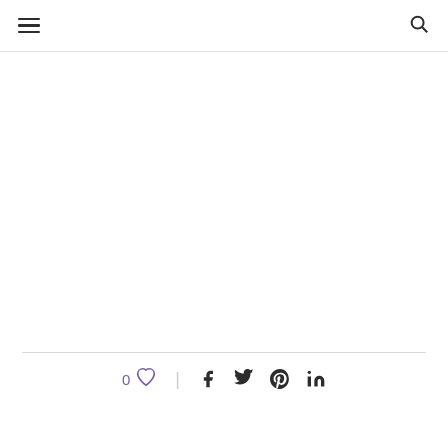Navigation header with menu and search icons
[Figure (other): Empty white content area between header and divider line]
0 (like count) with heart icon, pipe separator, and social share icons: Facebook, Twitter, Pinterest, LinkedIn